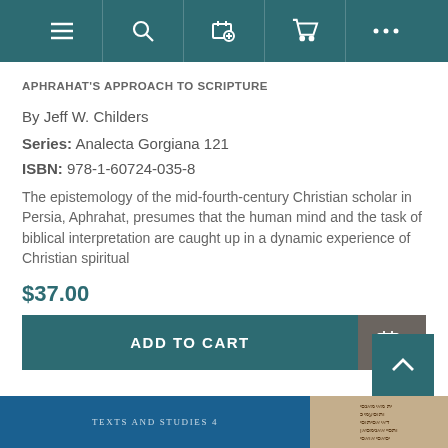Navigation bar with menu, search, wishlist, cart, and more icons
APHRAHAT'S APPROACH TO SCRIPTURE
By Jeff W. Childers
Series: Analecta Gorgiana 121
ISBN: 978-1-60724-035-8
The epistemology of the mid-fourth-century Christian scholar in Persia, Aphrahat, presumes that the human mind and the task of biblical interpretation are caught up in a dynamic experience of Christian spiritual
$37.00
ADD TO CART
[Figure (screenshot): Bottom strip showing partial book covers — a blue cover with 'Texts and Studies 4' text and a parchment-colored area with ancient script]